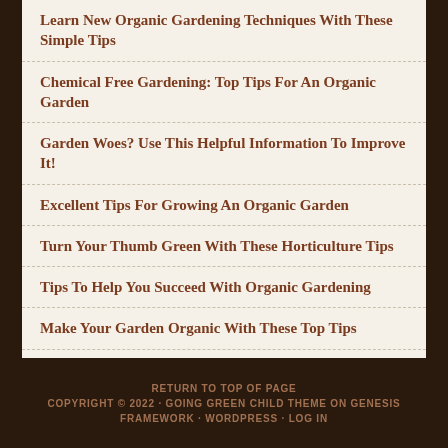Learn New Organic Gardening Techniques With These Simple Tips
Chemical Free Gardening: Top Tips For An Organic Garden
Garden Woes? Use This Helpful Information To Improve It!
Excellent Tips For Growing An Organic Garden
Turn Your Thumb Green With These Horticulture Tips
Tips To Help You Succeed With Organic Gardening
Make Your Garden Organic With These Top Tips
How To Grow An Organic Garden As A Part Of A Healthy Lifestyle
RETURN TO TOP OF PAGE COPYRIGHT © 2022 · GOING GREEN CHILD THEME ON GENESIS FRAMEWORK · WORDPRESS · LOG IN